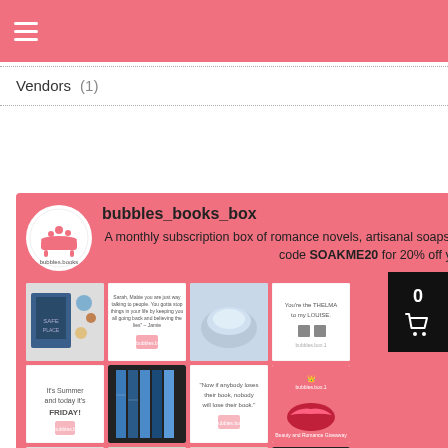Navigation bar with hamburger menu
(4)
Uncategorized (5)
Vendors (1)
[Figure (screenshot): Instagram-style vendor card for bubbles_books_box on a pink background. Shows a circular logo, username 'bubbles_books_box', a description about a monthly subscription box of romance novels, artisanal soaps & other book/bath goodies with code SOAKME20 for 20% off, and a 4x2 grid of Instagram post thumbnails.]
0 (cart count)